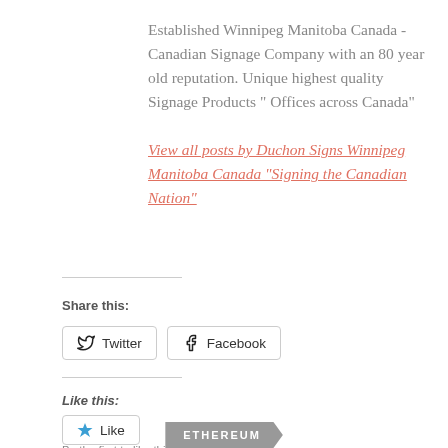Established Winnipeg Manitoba Canada - Canadian Signage Company with an 80 year old reputation. Unique highest quality Signage Products " Offices across Canada"
View all posts by Duchon Signs Winnipeg Manitoba Canada "Signing the Canadian Nation"
Share this:
Twitter
Facebook
Like this:
Like
Be the first to like this.
ETHEREUM